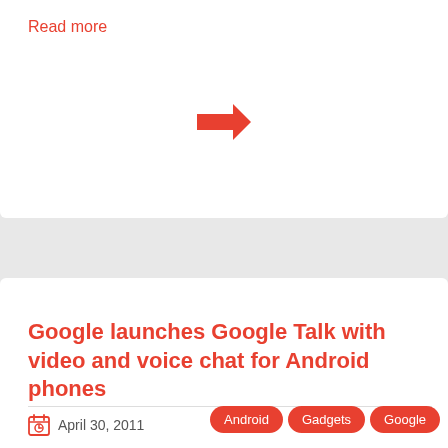Read more
[Figure (other): Red arrow pointing right]
Google launches Google Talk with video and voice chat for Android phones
April 30, 2011
Android   Gadgets   Google
This is good news for Android users. Google has now added Voice and Video chat feature in its Google Talk Aps for Android phones. So, you [...]
Read more
[Figure (other): Red arrow pointing right]